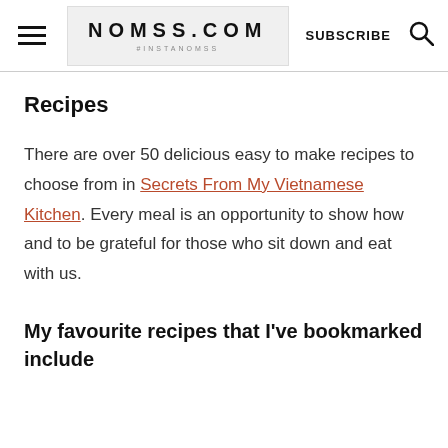NOMSS.COM #INSTANOMSS | SUBSCRIBE
Recipes
There are over 50 delicious easy to make recipes to choose from in Secrets From My Vietnamese Kitchen. Every meal is an opportunity to show how and to be grateful for those who sit down and eat with us.
My favourite recipes that I've bookmarked include